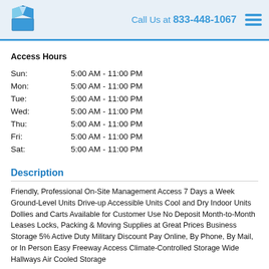Call Us at 833-448-1067
Access Hours
| Sun: | 5:00 AM - 11:00 PM |
| Mon: | 5:00 AM - 11:00 PM |
| Tue: | 5:00 AM - 11:00 PM |
| Wed: | 5:00 AM - 11:00 PM |
| Thu: | 5:00 AM - 11:00 PM |
| Fri: | 5:00 AM - 11:00 PM |
| Sat: | 5:00 AM - 11:00 PM |
Description
Friendly, Professional On-Site Management Access 7 Days a Week Ground-Level Units Drive-up Accessible Units Cool and Dry Indoor Units Dollies and Carts Available for Customer Use No Deposit Month-to-Month Leases Locks, Packing & Moving Supplies at Great Prices Business Storage 5% Active Duty Military Discount Pay Online, By Phone, By Mail, or In Person Easy Freeway Access Climate-Controlled Storage Wide Hallways Air Cooled Storage
Admin Fee